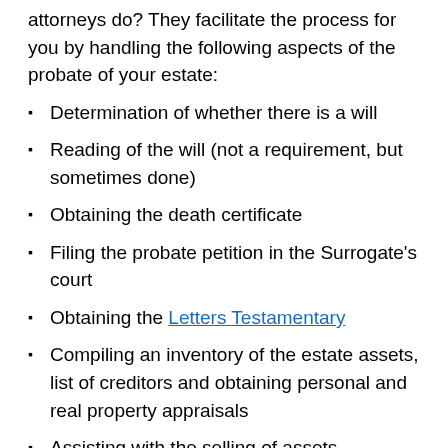attorneys do? They facilitate the process for you by handling the following aspects of the probate of your estate:
Determination of whether there is a will
Reading of the will (not a requirement, but sometimes done)
Obtaining the death certificate
Filing the probate petition in the Surrogate's court
Obtaining the Letters Testamentary
Compiling an inventory of the estate assets, list of creditors and obtaining personal and real property appraisals
Assisting with the selling of assets, payment to